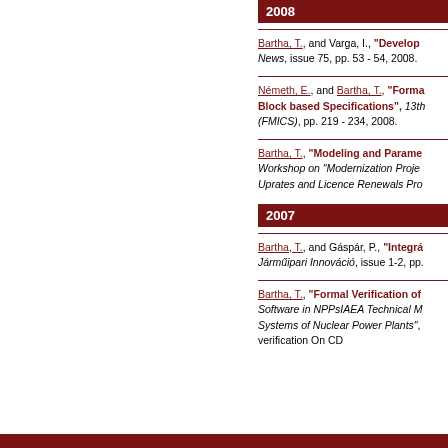2008
Bartha, T., and Varga, I., "Develop..." News, issue 75, pp. 53 - 54, 2008.
Németh, E., and Bartha, T., "Formal... Block based Specifications", 13th... (FMICS), pp. 219 - 234, 2008.
Bartha, T., "Modeling and Parame..." Workshop on "Modernization Proje... Uprates and Licence Renewals Pro...
2007
Bartha, T., and Gáspár, P., "Integr..." Jármüipari Innováció, issue 1-2, pp....
Bartha, T., "Formal Verification of ... Software in NPPs IAEA Technical M... Systems of Nuclear Power Plants", ... verification On CD